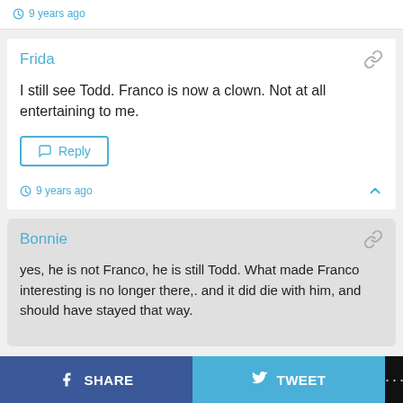9 years ago
Frida
I still see Todd. Franco is now a clown. Not at all entertaining to me.
9 years ago
Bonnie
yes, he is not Franco, he is still Todd. What made Franco interesting is no longer there,. and it did die with him, and should have stayed that way.
SHARE   TWEET   ...